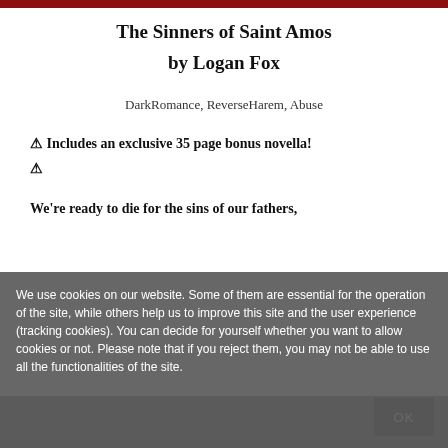[Figure (illustration): Red/dark book cover image strip at top]
The Sinners of Saint Amos
by Logan Fox
DarkRomance, ReverseHarem, Abuse
⚠ Includes an exclusive 35 page bonus novella!
⚠
We're ready to die for the sins of our fathers,
We use cookies on our website. Some of them are essential for the operation of the site, while others help us to improve this site and the user experience (tracking cookies). You can decide for yourself whether you want to allow cookies or not. Please note that if you reject them, you may not be able to use all the functionalities of the site.
OK